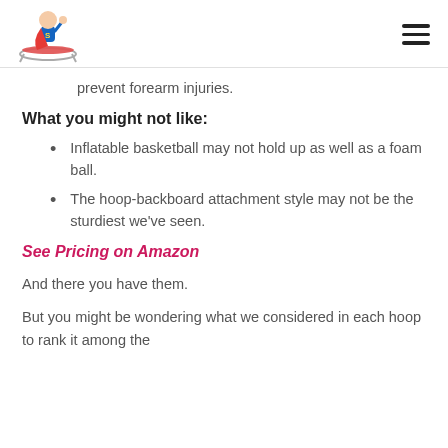[Logo: trampoline superhero character] [Hamburger menu]
prevent forearm injuries.
What you might not like:
Inflatable basketball may not hold up as well as a foam ball.
The hoop-backboard attachment style may not be the sturdiest we've seen.
See Pricing on Amazon
And there you have them.
But you might be wondering what we considered in each hoop to rank it among the